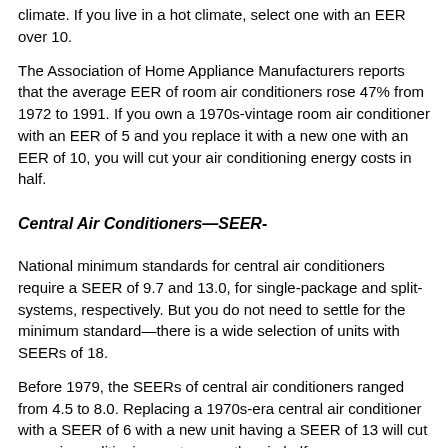climate. If you live in a hot climate, select one with an EER over 10.
The Association of Home Appliance Manufacturers reports that the average EER of room air conditioners rose 47% from 1972 to 1991. If you own a 1970s-vintage room air conditioner with an EER of 5 and you replace it with a new one with an EER of 10, you will cut your air conditioning energy costs in half.
Central Air Conditioners—SEER-
National minimum standards for central air conditioners require a SEER of 9.7 and 13.0, for single-package and split-systems, respectively. But you do not need to settle for the minimum standard—there is a wide selection of units with SEERs of 18.
Before 1979, the SEERs of central air conditioners ranged from 4.5 to 8.0. Replacing a 1970s-era central air conditioner with a SEER of 6 with a new unit having a SEER of 13 will cut your air conditioning costs more than in half.